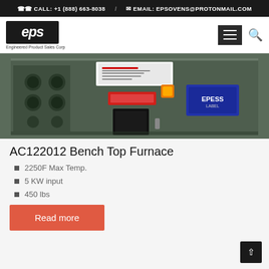CALL: +1 (888) 663-8038 / EMAIL: EPSOVENS@PROTONMAIL.COM
[Figure (logo): EPS logo — white italic 'eps' text on dark background, with 'Engineered Product Sales Corp' below]
[Figure (photo): AC122012 Bench Top Furnace — dark green/grey metal cabinet with ventilation holes on left side, label stickers, orange indicator light, red warning label, black control panel, and blue EPS brand plate on right]
AC122012 Bench Top Furnace
2250F Max Temp.
5 KW input
450 lbs
Read more